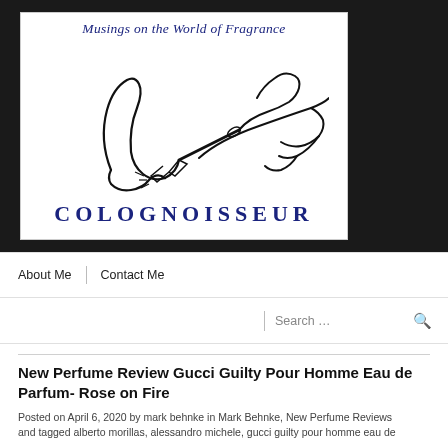[Figure (logo): Colognoisseur blog logo. White background with line drawing of a hand holding a perfume tester applicator near a nose. Text 'Musings on the World of Fragrance' at top and 'COLOGNOISSEUR' in large spaced letters at the bottom.]
About Me  |  Contact Me
Search …
New Perfume Review Gucci Guilty Pour Homme Eau de Parfum- Rose on Fire
Posted on April 6, 2020 by mark behnke in Mark Behnke, New Perfume Reviews and tagged alberto morillas, alessandro michele, gucci guilty pour homme eau de